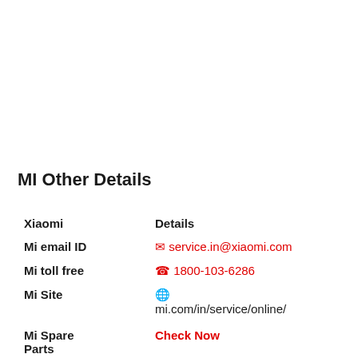MI Other Details
| Xiaomi | Details |
| --- | --- |
| Mi email ID | ✉ service.in@xiaomi.com |
| Mi toll free | ☎ 1800-103-6286 |
| Mi Site | 🌐 mi.com/in/service/online/ |
| Mi Spare Parts | Check Now |
| Mi ... |  |